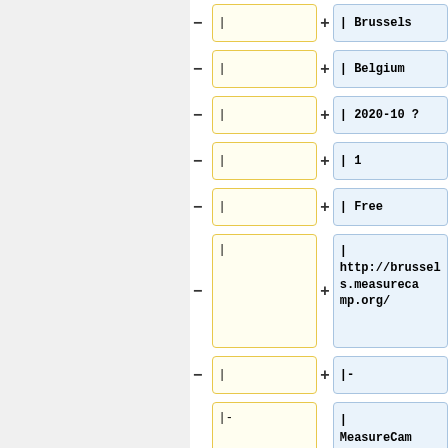[Figure (screenshot): Diff view showing two-column comparison of wiki markup rows. Left column (yellow border boxes) shows removed lines with minus signs. Right column (blue border boxes) shows added lines with plus signs. Rows show: | Brussels, | Belgium, | 2020-10 ?, | 1, | Free, | http://brussels.measurecamp.org/, |- , | MeasureCamp - Stockholm, | Analytics]
| Brussels
| Belgium
| 2020-10 ?
| 1
| Free
| http://brussels.measurecamp.org/
|-
|- | MeasureCamp - Stockholm
| Analytics